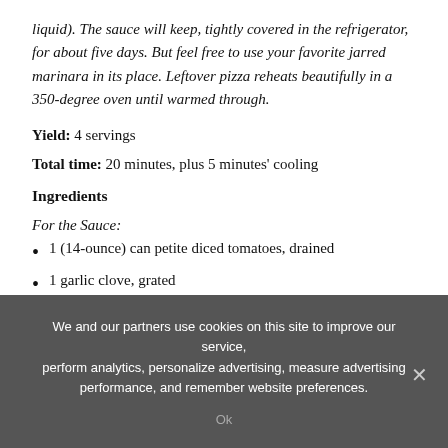liquid). The sauce will keep, tightly covered in the refrigerator, for about five days. But feel free to use your favorite jarred marinara in its place. Leftover pizza reheats beautifully in a 350-degree oven until warmed through.
Yield: 4 servings
Total time: 20 minutes, plus 5 minutes' cooling
Ingredients
For the Sauce:
1 (14-ounce) can petite diced tomatoes, drained
1 garlic clove, grated
1/2 teaspoon kosher salt (Diamond Crystal)
We and our partners use cookies on this site to improve our service, perform analytics, personalize advertising, measure advertising performance, and remember website preferences.